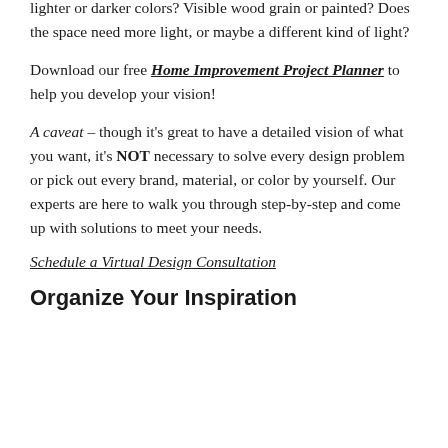lighter or darker colors? Visible wood grain or painted? Does the space need more light, or maybe a different kind of light?
Download our free Home Improvement Project Planner to help you develop your vision!
A caveat – though it's great to have a detailed vision of what you want, it's NOT necessary to solve every design problem or pick out every brand, material, or color by yourself. Our experts are here to walk you through step-by-step and come up with solutions to meet your needs.
Schedule a Virtual Design Consultation
Organize Your Inspiration